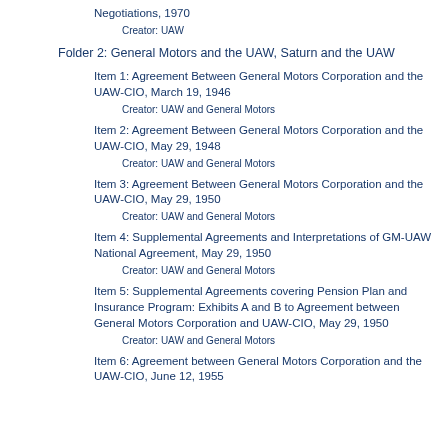Negotiations, 1970
Creator: UAW
Folder 2: General Motors and the UAW, Saturn and the UAW
Item 1: Agreement Between General Motors Corporation and the UAW-CIO, March 19, 1946
Creator: UAW and General Motors
Item 2: Agreement Between General Motors Corporation and the UAW-CIO, May 29, 1948
Creator: UAW and General Motors
Item 3: Agreement Between General Motors Corporation and the UAW-CIO, May 29, 1950
Creator: UAW and General Motors
Item 4: Supplemental Agreements and Interpretations of GM-UAW National Agreement, May 29, 1950
Creator: UAW and General Motors
Item 5: Supplemental Agreements covering Pension Plan and Insurance Program: Exhibits A and B to Agreement between General Motors Corporation and UAW-CIO, May 29, 1950
Creator: UAW and General Motors
Item 6: Agreement between General Motors Corporation and the UAW-CIO, June 12, 1955